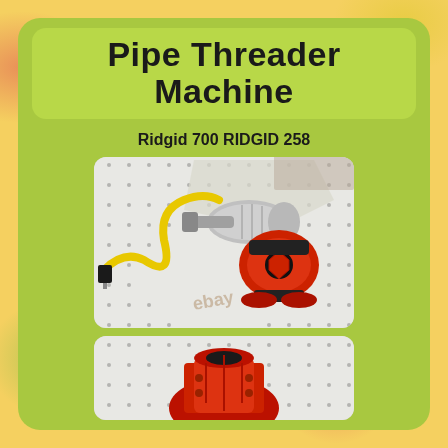Pipe Threader Machine
Ridgid 700 RIDGID 258
[Figure (photo): Photo of a Ridgid pipe threader machine with yellow power cord, silver motor housing, and red pipe threading die head, resting on a white dotted mat. eBay watermark visible.]
[Figure (photo): Close-up photo of the red pipe threading die/chuck component of the Ridgid machine, on a white dotted mat.]